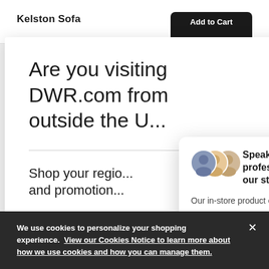Kelston Sofa
Are you visiting DWR.com from outside the U...
Shop your region... and promotion...
Continue to Canada
Continue to United States
[Figure (screenshot): Chat popup widget with avatars and 'Speak with a design professional in one of our stores' heading, description text, and 'Ask a question' input field]
[Figure (screenshot): Messenger/chat floating action button (dark circle with chat icon)]
We use cookies to personalize your shopping experience. View our Cookies Notice to learn more about how we use cookies and how you can manage them.